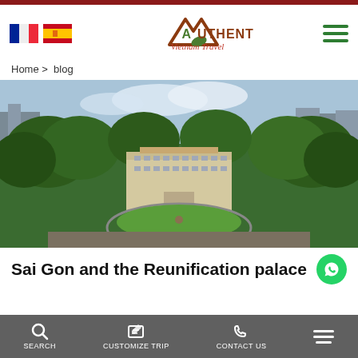Authentik Vietnam Travel
Home > blog
[Figure (photo): Aerial view of the Reunification Palace in Ho Chi Minh City (Saigon), surrounded by lush green trees, with a circular driveway and the city skyline in the background.]
Sai Gon and the Reunification palace
SEARCH   CUSTOMIZE TRIP   CONTACT US